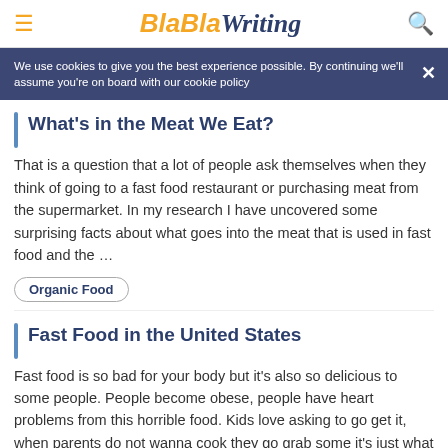BlaBlaWriting
We use cookies to give you the best experience possible. By continuing we'll assume you're on board with our cookie policy
What's in the Meat We Eat?
That is a question that a lot of people ask themselves when they think of going to a fast food restaurant or purchasing meat from the supermarket. In my research I have uncovered some surprising facts about what goes into the meat that is used in fast food and the …
Organic Food
Fast Food in the United States
Fast food is so bad for your body but it's also so delicious to some people. People become obese, people have heart problems from this horrible food. Kids love asking to go get it, when parents do not wanna cook they go grab some it's just what humans do. People …